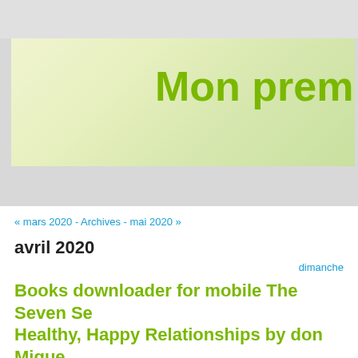[Figure (illustration): Blog header banner with light yellow-green gradient background and bold green text 'Mon premie' (truncated)]
« mars 2020 - Archives - mai 2020 »
avril 2020
dimanche
Books downloader for mobile The Seven Se... Healthy, Happy Relationships by don Migue... Jr., HeatherAsh Amara in English
Par august kate